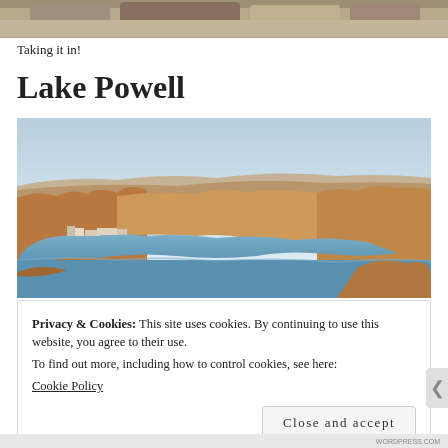[Figure (photo): Top edge of a rocky surface photo, partially visible at the top of the page]
Taking it in!
Lake Powell
[Figure (photo): Aerial or elevated photograph of Lake Powell showing blue water surrounded by red-orange canyon terrain, with marina structures visible on the left side and hazy sky above]
Privacy & Cookies: This site uses cookies. By continuing to use this website, you agree to their use.
To find out more, including how to control cookies, see here:
Cookie Policy
Close and accept